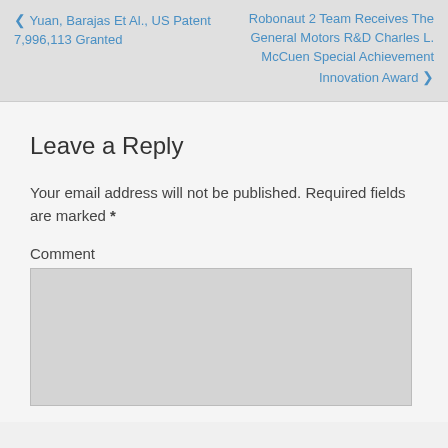‹ Yuan, Barajas Et Al., US Patent 7,996,113 Granted
Robonaut 2 Team Receives The General Motors R&D Charles L. McCuen Special Achievement Innovation Award ›
Leave a Reply
Your email address will not be published. Required fields are marked *
Comment